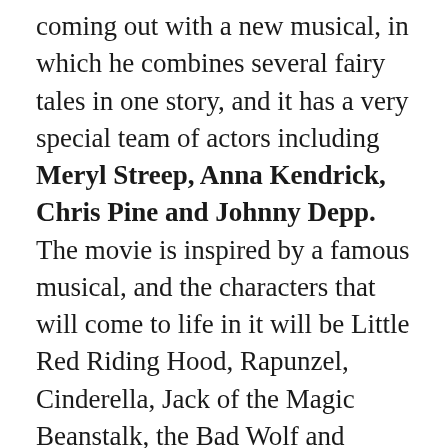coming out with a new musical, in which he combines several fairy tales in one story, and it has a very special team of actors including Meryl Streep, Anna Kendrick, Chris Pine and Johnny Depp. The movie is inspired by a famous musical, and the characters that will come to life in it will be Little Red Riding Hood, Rapunzel, Cinderella, Jack of the Magic Beanstalk, the Bad Wolf and Prince Charming.